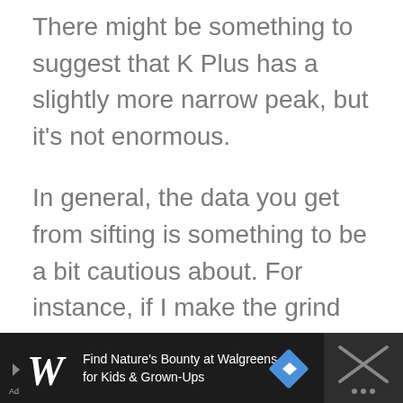There might be something to suggest that K Plus has a slightly more narrow peak, but it’s not enormous.
In general, the data you get from sifting is something to be a bit cautious about. For instance, if I make the grind size a bit coarser on one of the grinders, I’ll change the distribution and have fewer fines, but suddenly I get more boulders.
So to compare two grinders, you need to be sure th…
[Figure (screenshot): Advertisement bar for Walgreens Nature's Bounty at bottom of page. Dark background with Walgreens logo, text 'Find Nature’s Bounty at Walgreens for Kids & Grown-Ups', blue diamond icon, and close button.]